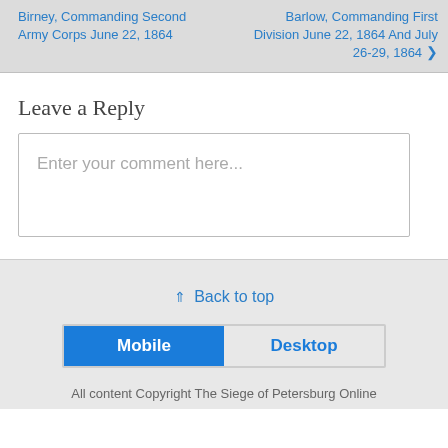Birney, Commanding Second Army Corps June 22, 1864
Barlow, Commanding First Division June 22, 1864 And July 26-29, 1864 ❯
Leave a Reply
Enter your comment here...
⇑ Back to top
Mobile | Desktop
All content Copyright The Siege of Petersburg Online